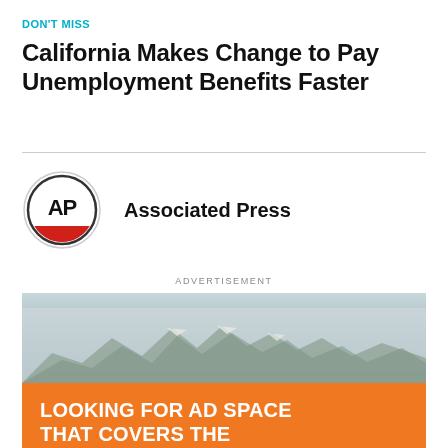DON'T MISS
California Makes Change to Pay Unemployment Benefits Faster
[Figure (logo): Associated Press (AP) logo — circle with AP text inside and red band at bottom]
Associated Press
ADVERTISEMENT
[Figure (photo): Advertisement image showing snowy mountain range and orange background with text: LOOKING FOR AD SPACE THAT COVERS THE ENTIRE VALLEY... OVER 172,960 AVERAGE MONTHLY PAGE VIEWS - NO ONE GIVES YOU MORE]